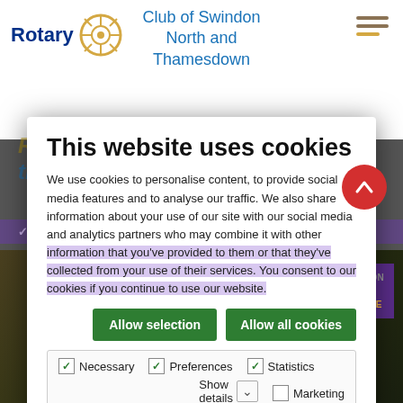Club of Swindon North and Thamesdown
This website uses cookies
We use cookies to personalise content, to provide social media features and to analyse our traffic. We also share information about your use of our site with our social media and analytics partners who may combine it with other information that you've provided to them or that they've collected from your use of their services. You consent to our cookies if you continue to use our website.
Allow selection
Allow all cookies
Necessary (checked), Preferences (checked), Statistics (checked), Marketing (unchecked)
Show details
[Figure (photo): Person wearing yellow high-visibility vest with 'GOODBYE POLIO' text. Background shows 'AFRICAN REGION CERTIFIED WILD POLIO-FREE' banner.]